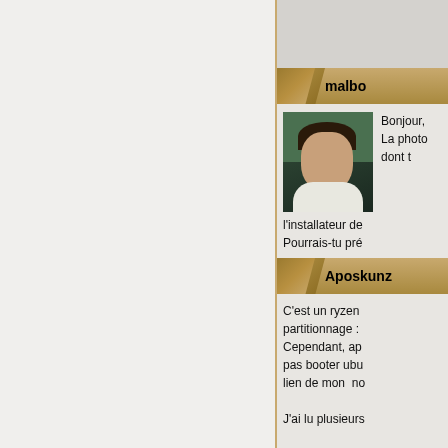malbo
Bonjour,
La photo dont t
l'installateur de
Pourrais-tu pré
Aposkunz
C'est un ryzen
partitionnage :
Cependant, ap
pas booter ubu
lien de mon  no

J'ai lu plusieurs

j'ai fait une par
communs et un